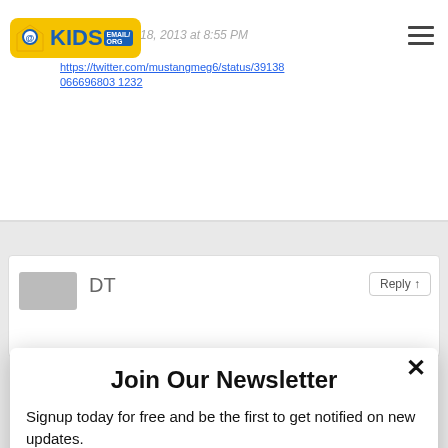[Figure (screenshot): KidsEmail.org logo in yellow rounded box with blue text and hamburger menu icon in top right]
er 18, 2013 at 8:55 PM
https://twitter.com/mustangmeg6/status/39138066696803 1232
DT
Reply
Join Our Newsletter
Signup today for free and be the first to get notified on new updates.
Enter your email
Subscribe
powered by MailMunch